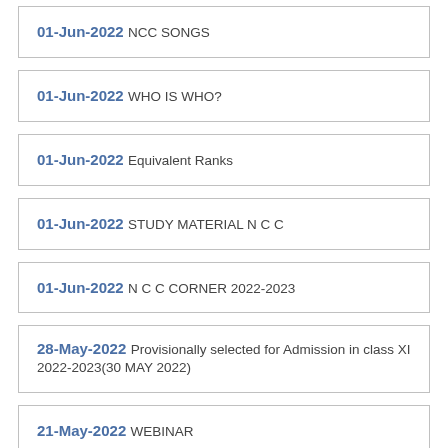01-Jun-2022 NCC SONGS
01-Jun-2022 WHO IS WHO?
01-Jun-2022 Equivalent Ranks
01-Jun-2022 STUDY MATERIAL N C C
01-Jun-2022 N C C CORNER 2022-2023
28-May-2022 Provisionally selected for Admission in class XI 2022-2023(30 MAY 2022)
21-May-2022 WEBINAR